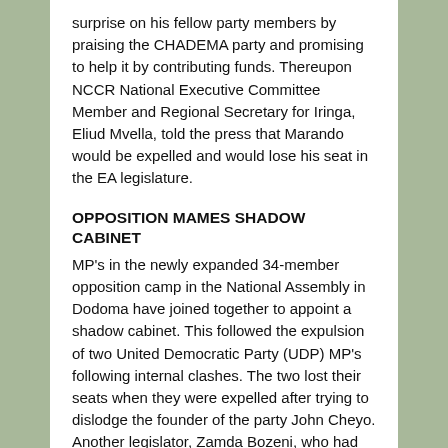surprise on his fellow party members by praising the CHADEMA party and promising to help it by contributing funds. Thereupon NCCR National Executive Committee Member and Regional Secretary for Iringa, Eliud Mvella, told the press that Marando would be expelled and would lose his seat in the EA legislature.
OPPOSITION MAMES SHADOW CABINET
MP's in the newly expanded 34-member opposition camp in the National Assembly in Dodoma have joined together to appoint a shadow cabinet. This followed the expulsion of two United Democratic Party (UDP) MP's following internal clashes. The two lost their seats when they were expelled after trying to dislodge the founder of the party John Cheyo. Another legislator, Zamda Bozeni, who had been suspended by CUF also returned to the fold after winning a case against the party in court. Wilfred Lwakatare (Bukoba Urban -CUF), is the new leader of the opposition camp taking over from Dr Walid Kabourou (CHADEMA) who had been suspended by the Speaker of the Assembly. The Deputy leader is Isaac Cheyo (Bariadi